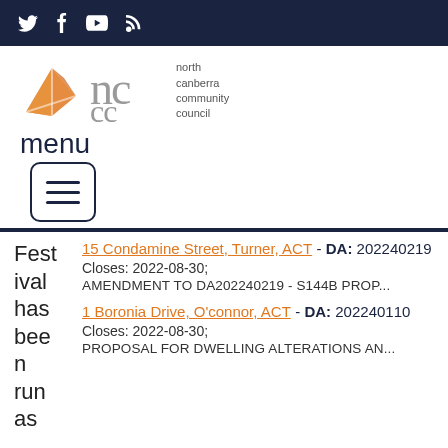North Canberra Community Council – social media icons (Twitter, Facebook, YouTube, RSS)
[Figure (logo): North Canberra Community Council logo with orange folded-paper icon and 'nccc' text and 'north canberra community council' wordmark]
menu
[Figure (other): Hamburger menu button (three horizontal lines in a rounded-rectangle border)]
15 Condamine Street, Turner, ACT - DA: 202240219
Closes: 2022-08-30;
AMENDMENT TO DA202240219 - S144B PROP...
1 Boronia Drive, O'connor, ACT - DA: 202240110
Closes: 2022-08-30;
PROPOSAL FOR DWELLING ALTERATIONS AN...
Festival has been run as